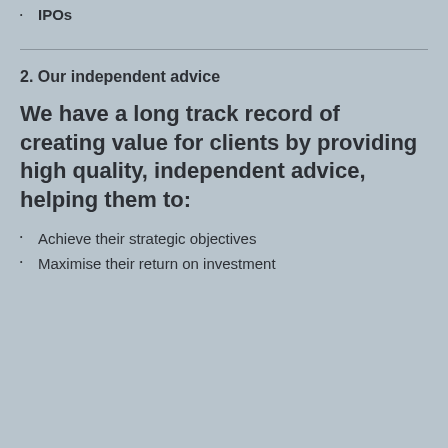IPOs
2. Our independent advice
We have a long track record of creating value for clients by providing high quality, independent advice, helping them to:
Achieve their strategic objectives
Maximise their return on investment